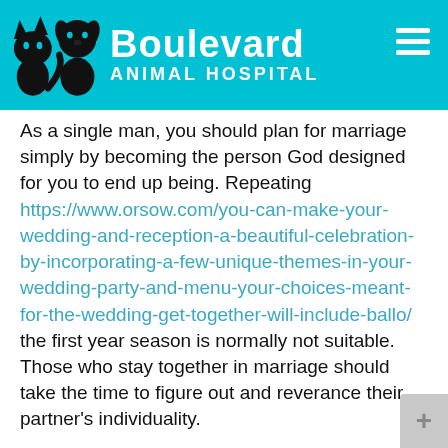Boulevard Animal Hospital
As a single man, you should plan for marriage simply by becoming the person God designed for you to end up being. Repeating https://www.orsow.com/you-can-make-your-wedding-and-reception-a-beautiful-celebration-by-incorporating-a-few-unique-themes-in-your-wedding-party-and-menu-your-choices-meant-for-the-wedding-get-together-will-include-ballo/ the first year season is normally not suitable. Those who stay together in marriage should take the time to figure out and reverance their partner’s individuality.
The most basic guideline of good matrimony is to talk very well with your spouse. Avoid contacting your spouse names or interrupting their discussion…